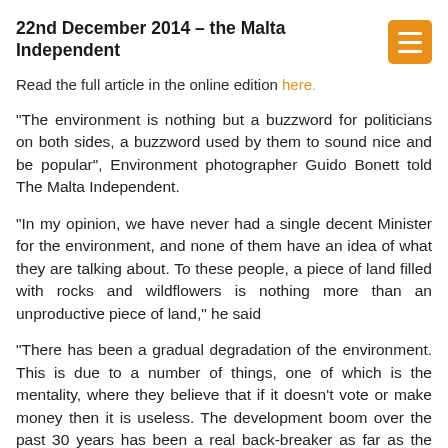22nd December 2014 – the Malta Independent
Read the full article in the online edition here.
“The environment is nothing but a buzzword for politicians on both sides, a buzzword used by them to sound nice and be popular”, Environment photographer Guido Bonett told The Malta Independent.
“In my opinion, we have never had a single decent Minister for the environment, and none of them have an idea of what they are talking about. To these people, a piece of land filled with rocks and wildflowers is nothing more than an unproductive piece of land,” he said
“There has been a gradual degradation of the environment. This is due to a number of things, one of which is the mentality, where they believe that if it doesn’t vote or make money then it is useless. The development boom over the past 30 years has been a real back-breaker as far as the environment is